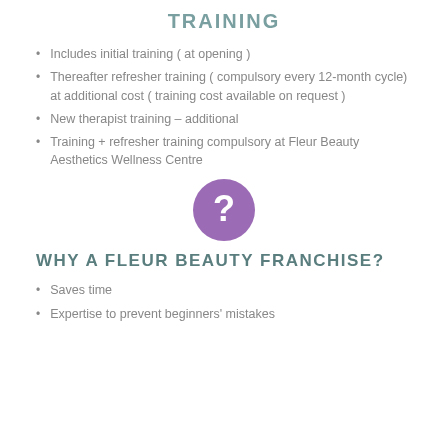TRAINING
Includes initial training ( at opening )
Thereafter refresher training ( compulsory every 12-month cycle) at additional cost ( training cost available on request )
New therapist training – additional
Training + refresher training compulsory at Fleur Beauty Aesthetics Wellness Centre
[Figure (illustration): Purple circle with white question mark icon]
WHY A FLEUR BEAUTY FRANCHISE?
Saves time
Expertise to prevent beginners' mistakes